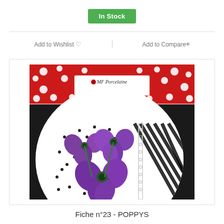In Stock
Add to Wishlist ♡
Add to Compare+
[Figure (photo): Product image of a porcelain plate with purple poppy flowers and black/white stripe design, from MF Porcelaine. The plate shows 'Fiche n°23 : Poppys' on a black banner. Red polka dot background on the package top.]
Fiche n°23 - POPPYS